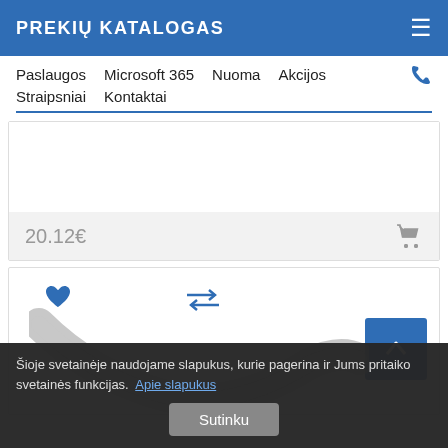PREKIŲ KATALOGAS
Paslaugos   Microsoft 365   Nuoma   Akcijos   Straipsniai   Kontaktai
20.12€
[Figure (screenshot): Product listing area with heart/wishlist icon, compare icon (arrows), scroll-to-top button, and a swoosh brand graphic]
Šioje svetainėje naudojame slapukus, kurie pagerina ir Jums pritaiko svetainės funkcijas. Apie slapukus
Sutinku